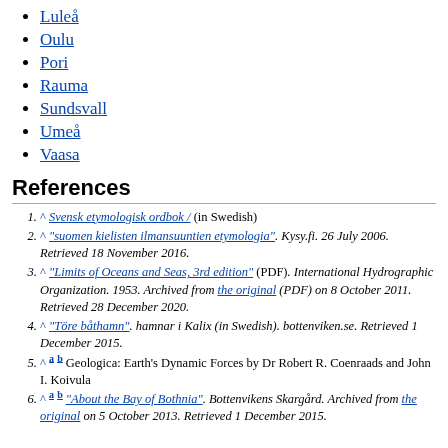Luleå
Oulu
Pori
Rauma
Sundsvall
Umeå
Vaasa
References
^ Svensk etymologisk ordbok / (in Swedish)
^ "suomen kielisten ilmansuuntien etymologia". Kysy.fi. 26 July 2006. Retrieved 18 November 2016.
^ "Limits of Oceans and Seas, 3rd edition" (PDF). International Hydrographic Organization. 1953. Archived from the original (PDF) on 8 October 2011. Retrieved 28 December 2020.
^ "Töre båthamn". hamnar i Kalix (in Swedish). bottenviken.se. Retrieved 1 December 2015.
^ a b Geologica: Earth's Dynamic Forces by Dr Robert R. Coenraads and John I. Koivula
^ a b "About the Bay of Bothnia". Bottenvikens Skargård. Archived from the original on 5 October 2013. Retrieved 1 December 2015.